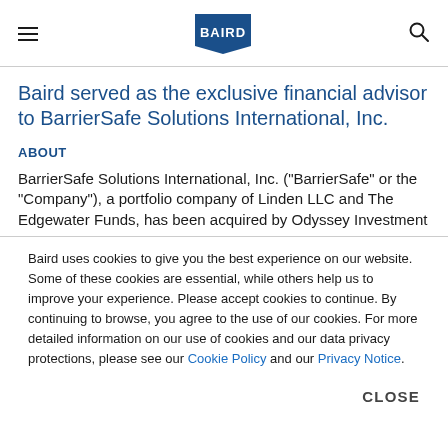BAIRD (logo)
Baird served as the exclusive financial advisor to BarrierSafe Solutions International, Inc.
ABOUT
BarrierSafe Solutions International, Inc. (“BarrierSafe” or the “Company”), a portfolio company of Linden LLC and The Edgewater Funds, has been acquired by Odyssey Investment
Baird uses cookies to give you the best experience on our website. Some of these cookies are essential, while others help us to improve your experience. Please accept cookies to continue. By continuing to browse, you agree to the use of our cookies. For more detailed information on our use of cookies and our data privacy protections, please see our Cookie Policy and our Privacy Notice.
CLOSE